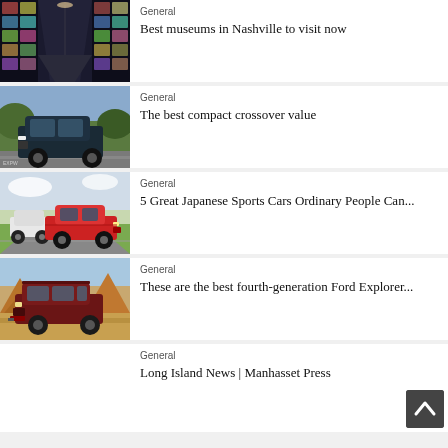[Figure (photo): Museum corridor with illuminated photo displays on both sides]
General
Best museums in Nashville to visit now
[Figure (photo): Dark colored compact SUV/crossover on a road]
General
The best compact crossover value
[Figure (photo): Red Japanese sports car on a road with another car in background]
General
5 Great Japanese Sports Cars Ordinary People Can...
[Figure (photo): Dark red Ford Explorer SUV in a desert canyon setting]
General
These are the best fourth-generation Ford Explorer...
General
Long Island News | Manhasset Press